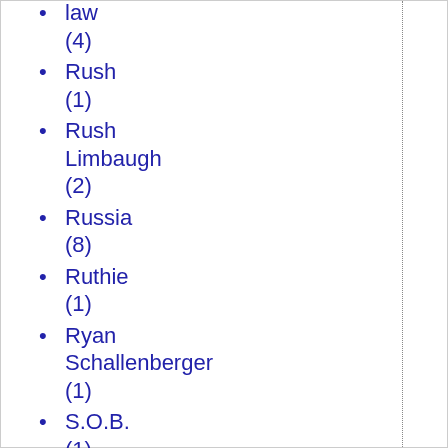law (4)
Rush (1)
Rush Limbaugh (2)
Russia (8)
Ruthie (1)
Ryan Schallenberger (1)
S.O.B. (1)
Sacrilege (1)
Sage McLaughlin (1)
saints (2)
same sex